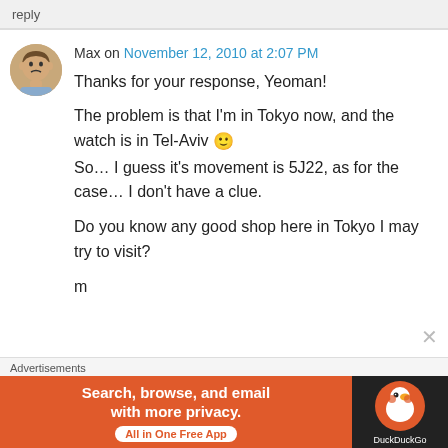reply
Max on November 12, 2010 at 2:07 PM
Thanks for your response, Yeoman!

The problem is that I'm in Tokyo now, and the watch is in Tel-Aviv 🙂
So… I guess it's movement is 5J22, as for the case… I don't have a clue.

Do you know any good shop here in Tokyo I may try to visit?

m
Advertisements
[Figure (screenshot): DuckDuckGo advertisement banner: orange background with text 'Search, browse, and email with more privacy. All in One Free App' and DuckDuckGo logo on dark background.]